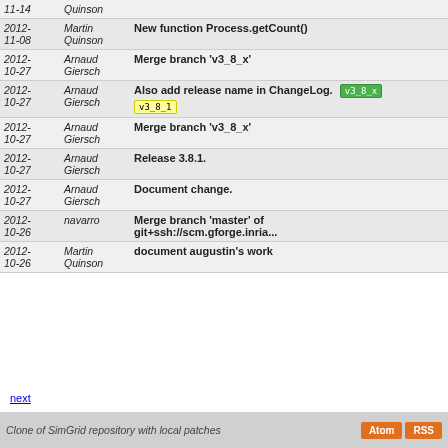| Date | Author | Message |
| --- | --- | --- |
| 2012-11-14 | Quinson | (partial row at top) |
| 2012-11-08 | Martin Quinson | New function Process.getCount() |
| 2012-10-27 | Arnaud Giersch | Merge branch 'v3_8_x' |
| 2012-10-27 | Arnaud Giersch | Also add release name in ChangeLog. [v3_8_x] [v3_8_1] |
| 2012-10-27 | Arnaud Giersch | Merge branch 'v3_8_x' |
| 2012-10-27 | Arnaud Giersch | Release 3.8.1. |
| 2012-10-27 | Arnaud Giersch | Document change. |
| 2012-10-26 | navarro | Merge branch 'master' of git+ssh://scm.gforge.inria... |
| 2012-10-26 | Martin Quinson | document augustin's work |
next
Clone of SimGrid repository with local patches  Atom  RSS